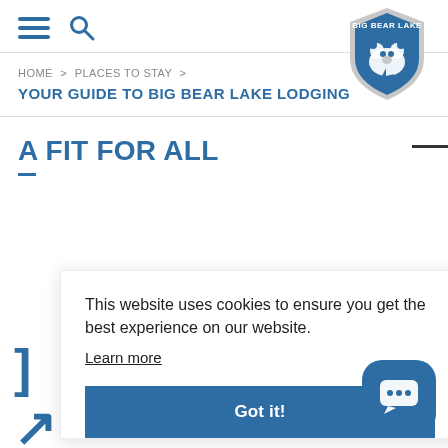Big Bear Lake navigation header with hamburger menu, search icon, and Big Bear Lake shield logo
HOME > PLACES TO STAY >
YOUR GUIDE TO BIG BEAR LAKE LODGING
A FIT FOR ALL
This website uses cookies to ensure you get the best experience on our website. Learn more
Got it!